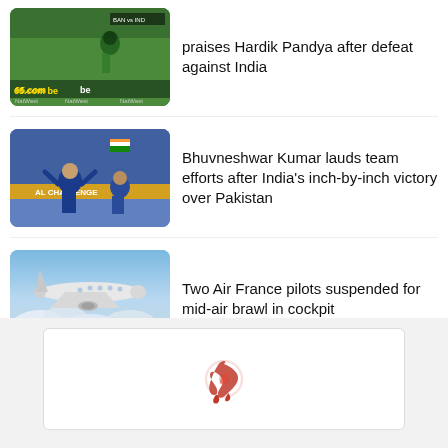[Figure (photo): Cricket match photo with green field background, player visible, sponsor banners showing 65.com and NatWest]
praises Hardik Pandya after defeat against India
[Figure (photo): Indian cricket players in blue jerseys on field, one celebrating with arms raised, Indian flag visible in crowd, Royal Challenge banner]
Bhuvneshwar Kumar lauds team efforts after India's inch-by-inch victory over Pakistan
[Figure (photo): Commercial airplane flying through cloudy sky, Air France context]
Two Air France pilots suspended for mid-air brawl in cockpit
[Figure (logo): Red dragon/phoenix logo in a white rounded rectangle box on grey background]